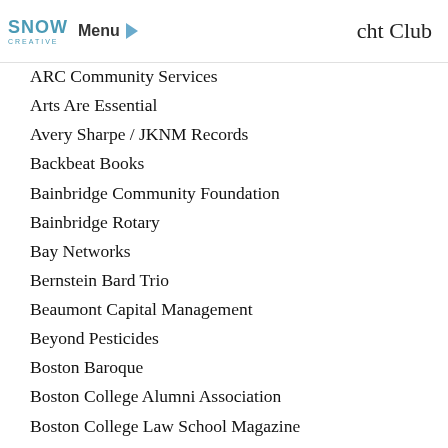snow creative | Menu | cht Club
ARC Community Services
Arts Are Essential
Avery Sharpe / JKNM Records
Backbeat Books
Bainbridge Community Foundation
Bainbridge Rotary
Bay Networks
Bernstein Bard Trio
Beaumont Capital Management
Beyond Pesticides
Boston Baroque
Boston College Alumni Association
Boston College Law School Magazine
Bridge over Troubled Waters
bx.com
Calliope Chorus and Orchestra
The Capital Network